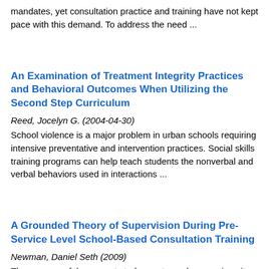mandates, yet consultation practice and training have not kept pace with this demand. To address the need ...
An Examination of Treatment Integrity Practices and Behavioral Outcomes When Utilizing the Second Step Curriculum
Reed, Jocelyn G. (2004-04-30)
School violence is a major problem in urban schools requiring intensive preventative and intervention practices. Social skills training programs can help teach students the nonverbal and verbal behaviors used in interactions ...
A Grounded Theory of Supervision During Pre-Service Level School-Based Consultation Training
Newman, Daniel Seth (2009)
The purpose of the current study was to explore a university-based supervision process for pre-service level school-based consultants engaged in a consultation course with practicum experience. The